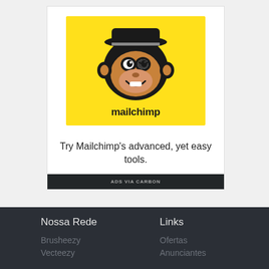[Figure (logo): Mailchimp logo on yellow background with monkey mascot and 'mailchimp' text]
Try Mailchimp's advanced, yet easy tools.
ADS VIA CARBON
Nossa Rede
Links
Brusheezy
Vecteezy
Ofertas
Anunciantes